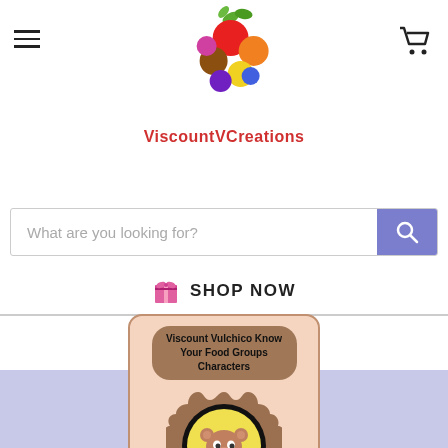ViscountVCreations
[Figure (logo): ViscountVCreations logo with colorful fruit circles and red text]
What are you looking for?
SHOP NOW
[Figure (illustration): Product card showing Viscount Vulchico Know Your Food Groups Characters with cartoon bear illustration]